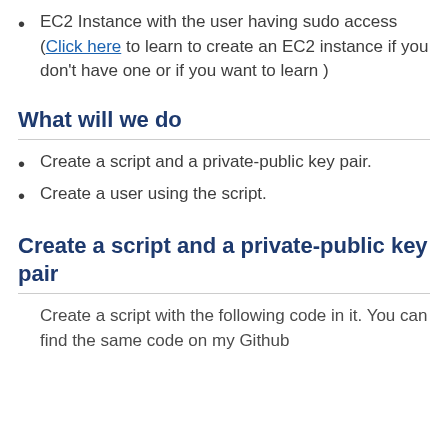EC2 Instance with the user having sudo access (Click here to learn to create an EC2 instance if you don't have one or if you want to learn )
What will we do
Create a script and a private-public key pair.
Create a user using the script.
Create a script and a private-public key pair
Create a script with the following code in it. You can find the same code on my Github